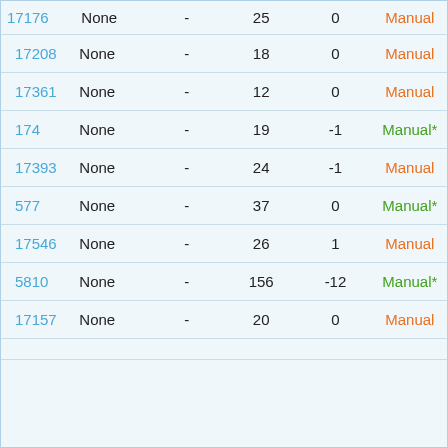| ID | Type | - | Col1 | Col2 | Status |
| --- | --- | --- | --- | --- | --- |
| 17176 | None | - | 25 | 0 | Manual |
| 17208 | None | - | 18 | 0 | Manual |
| 17361 | None | - | 12 | 0 | Manual |
| 174 | None | - | 19 | -1 | Manual* |
| 17393 | None | - | 24 | -1 | Manual |
| 577 | None | - | 37 | 0 | Manual* |
| 17546 | None | - | 26 | 1 | Manual |
| 5810 | None | - | 156 | -12 | Manual* |
| 17157 | None | - | 20 | 0 | Manual |